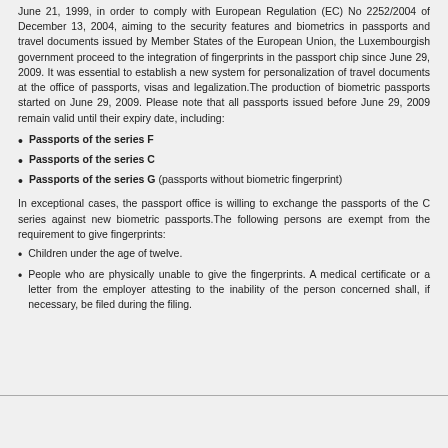June 21, 1999, in order to comply with European Regulation (EC) No 2252/2004 of December 13, 2004, aiming to the security features and biometrics in passports and travel documents issued by Member States of the European Union, the Luxembourgish government proceed to the integration of fingerprints in the passport chip since June 29, 2009. It was essential to establish a new system for personalization of travel documents at the office of passports, visas and legalization.The production of biometric passports started on June 29, 2009. Please note that all passports issued before June 29, 2009 remain valid until their expiry date, including:
Passports of the series F
Passports of the series C
Passports of the series G (passports without biometric fingerprint)
In exceptional cases, the passport office is willing to exchange the passports of the C series against new biometric passports.The following persons are exempt from the requirement to give fingerprints:
Children under the age of twelve.
People who are physically unable to give the fingerprints. A medical certificate or a letter from the employer attesting to the inability of the person concerned shall, if necessary, be filed during the filing.